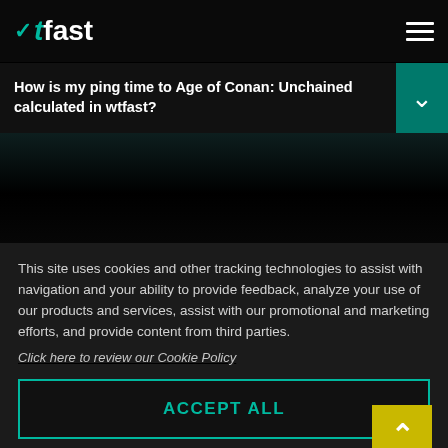wtfast
How is my ping time to Age of Conan: Unchained calculated in wtfast?
[Figure (screenshot): Dark gradient background area representing a video/image placeholder]
This site uses cookies and other tracking technologies to assist with navigation and your ability to provide feedback, analyze your use of our products and services, assist with our promotional and marketing efforts, and provide content from third parties.
Click here to review our Cookie Policy
ACCEPT ALL
Accept mandatory and performance